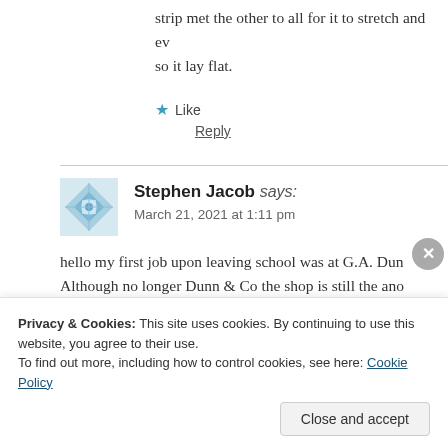strip met the other to all for it to stretch and ev... so it lay flat.
Like
Reply
Stephen Jacob says:
March 21, 2021 at 1:11 pm
hello my first job upon leaving school was at G.A. Dun... Although no longer Dunn & Co the shop is still the ano... visable above the shopfront although they have been re... Manager was Mr F.W. Harrison and a proper gent...
Privacy & Cookies: This site uses cookies. By continuing to use this website, you agree to their use.
To find out more, including how to control cookies, see here: Cookie Policy
Close and accept